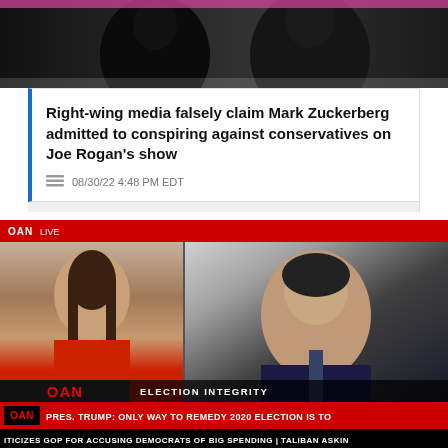[Figure (photo): Black and white photo of two people from the shoulders up against a dark background]
Right-wing media falsely claim Mark Zuckerberg admitted to conspiring against conservatives on Joe Rogan's show
08/30/22 4:48 PM EDT
[Figure (screenshot): OAN news broadcast screenshot showing a woman in a red dress on the left and a man in a suit and tie on the right. Lower thirds show: ELECTION INTEGRITY banner, OAN logo, headline 'PRES. TRUMP: ONLY WAY TO REMEDY 2020 ELECTION IS TO' with sub-text 'DECLARE RIGHTFUL WINNER, HAVE NEW ELECTION; CITES FOR BURYING HUNTER LAPTOP STORY, MASSIVE VOTER FRAUD', and ticker 'ITICIZES GOP FOR ACCUSING DEMOCRATS OF BIG SPENDING | TALIBAN ASKIN']